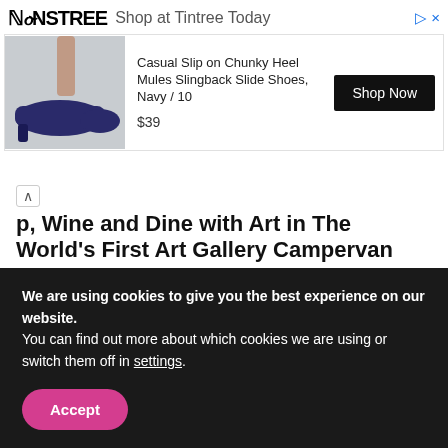[Figure (screenshot): Advertisement banner for NINSTREE showing a navy chunky heel mule shoe. Product: Casual Slip on Chunky Heel Mules Slingback Slide Shoes, Navy / 10. Price: $39. Shop Now button.]
p, Wine and Dine with Art in The World's First Art Gallery Campervan
By Atish Sharma — August 10, 2022
LEAVE A REPLY
We are using cookies to give you the best experience on our website.
You can find out more about which cookies we are using or switch them off in settings.
Accept